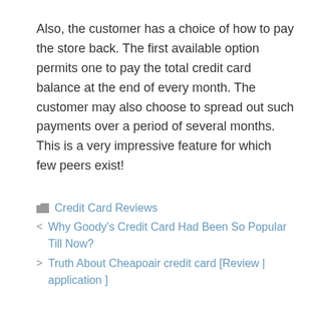Also, the customer has a choice of how to pay the store back. The first available option permits one to pay the total credit card balance at the end of every month. The customer may also choose to spread out such payments over a period of several months. This is a very impressive feature for which few peers exist!
Credit Card Reviews
< Why Goody's Credit Card Had Been So Popular Till Now?
> Truth About Cheapoair credit card [Review | application ]